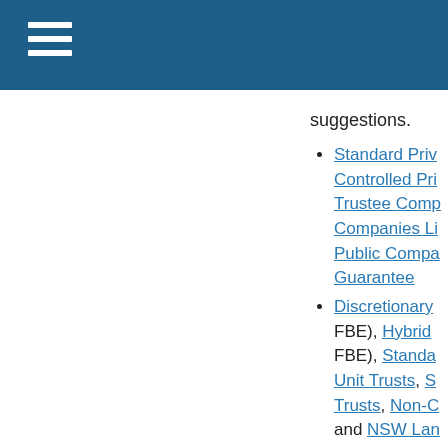suggestions.
Standard Private Company, Controlled Private Company, Trustee Company, Companies Limited by Guarantee, Public Company Limited by Guarantee
Discretionary (FBE), Hybrid (FBE), Standard Unit Trusts, S Trusts, Non-C and NSW Lan
Standard SMSFs, SMSFs
PGG Online is fully s lawyers of PG Gell L Online is like a frien